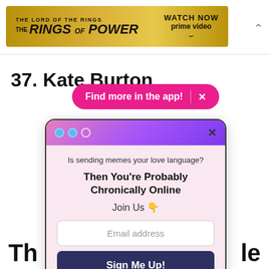[Figure (screenshot): Amazon Prime Video advertisement banner for 'The Lord of the Rings: The Rings of Power' with golden background, showing show title on left and 'WATCH NOW prime video' with Amazon arrow logo on right.]
37. Kate Burton
Find more in the app!  ×
[Figure (screenshot): Modal popup with gradient purple/pink header containing three dots and an X close button. Body has pink background with text 'Is sending memes your love language? Then You're Probably Chronically Online Join Us 👇', an email address input field, a 'Sign Me Up!' button, and a 'No Thanks' underlined link.]
Th  le